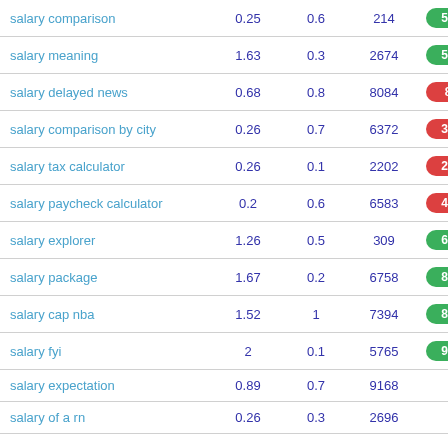| Keyword | Col1 | Col2 | Col3 | Score |
| --- | --- | --- | --- | --- |
| salary comparison | 0.25 | 0.6 | 214 | 52 |
| salary meaning | 1.63 | 0.3 | 2674 | 57 |
| salary delayed news | 0.68 | 0.8 | 8084 | 8 |
| salary comparison by city | 0.26 | 0.7 | 6372 | 30 |
| salary tax calculator | 0.26 | 0.1 | 2202 | 23 |
| salary paycheck calculator | 0.2 | 0.6 | 6583 | 45 |
| salary explorer | 1.26 | 0.5 | 309 | 68 |
| salary package | 1.67 | 0.2 | 6758 | 82 |
| salary cap nba | 1.52 | 1 | 7394 | 83 |
| salary fyi | 2 | 0.1 | 5765 | 92 |
| salary expectation | 0.89 | 0.7 | 9168 |  |
| salary of a rn | 0.26 | 0.3 | 2696 |  |